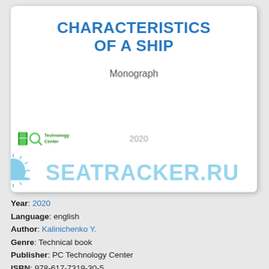CHARACTERISTICS OF A SHIP
Monograph
[Figure (logo): Technology Center logo with green book icon and magnifier]
2020
[Figure (logo): SEATRACKER.RU watermark logo with sun/ship graphic in light blue]
Year: 2020
Language: english
Author: Kalinichenko Y.
Genre: Technical book
Publisher: PC Technology Center
ISBN: 978-617-7319-30-5